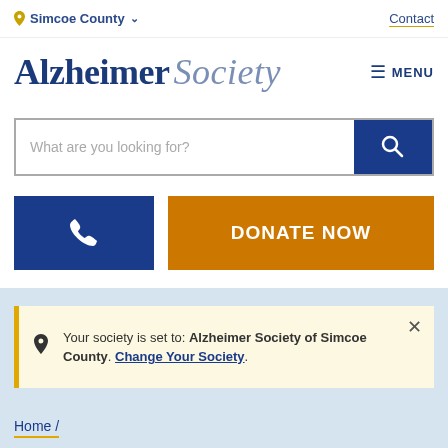Simcoe County ▾   Contact
Alzheimer Society
≡ MENU
[Figure (screenshot): Search bar with placeholder text 'What are you looking for?' and a dark blue search button with magnifying glass icon]
[Figure (screenshot): Dark blue phone button and orange DONATE NOW button]
Your society is set to: Alzheimer Society of Simcoe County. Change Your Society.
Home /